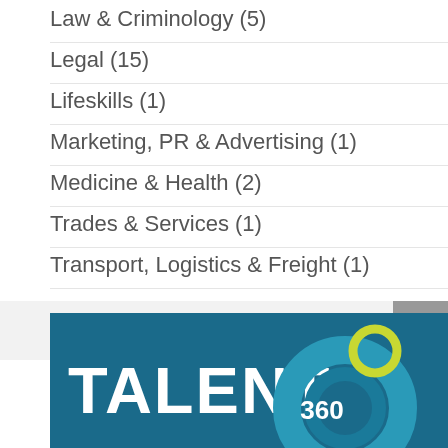Law & Criminology (5)
Legal (15)
Lifeskills (1)
Marketing, PR & Advertising (1)
Medicine & Health (2)
Trades & Services (1)
Transport, Logistics & Freight (1)
Newsletter Sign Up
[Figure (logo): Talent 360 logo on dark teal background with circular graphic elements in teal and lime green]